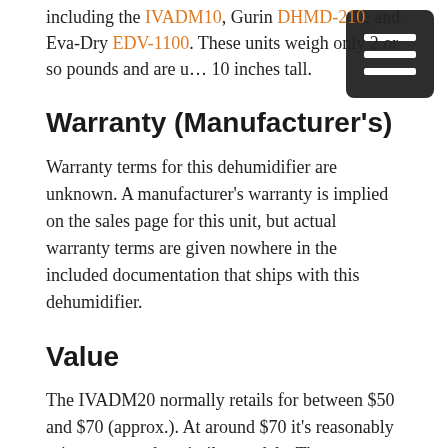including the IVADM10, Gurin DHMD-210, and Eva-Dry EDV-1100. These units weigh only 2 or so pounds and are u… 10 inches tall.
Warranty (Manufacturer's)
Warranty terms for this dehumidifier are unknown. A manufacturer's warranty is implied on the sales page for this unit, but actual warranty terms are given nowhere in the included documentation that ships with this dehumidifier.
Value
The IVADM20 normally retails for between $50 and $70 (approx.). At around $70 it's reasonably price compared to similar models. The IVADM35 and IVADM45 retail for more (normally between approx. $85 and $100) but they also remove more moisture per 24 hours (20 to 25 ounces vs 13.5